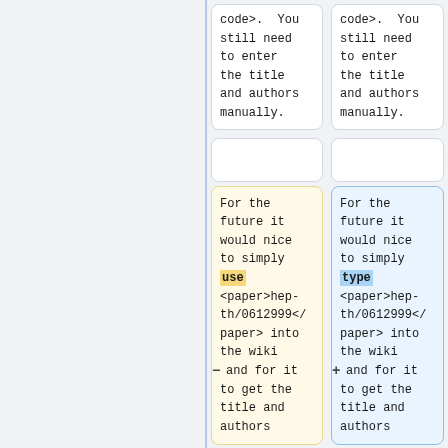code>. You still need to enter the title and authors manually.
code>. You still need to enter the title and authors manually.
For the future it would nice to simply use <paper>hep-th/0612999</paper> into the wiki and for it to get the title and authors
For the future it would nice to simply type <paper>hep-th/0612999</paper> into the wiki and for it to get the title and authors